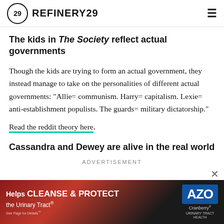REFINERY29
The kids in The Society reflect actual governments
Though the kids are trying to form an actual government, they instead manage to take on the personalities of different actual governments: “Allie= communism. Harry= capitalism. Lexie= anti-establishment populists. The guards= military dictatorship.”
Read the reddit theory here.
Cassandra and Dewey are alive in the real world
ADVERTISEMENT
[Figure (photo): AZO Cranberry Urinary Tract Health advertisement banner showing cranberries and text 'Helps CLEANSE & PROTECT the Urinary Tract']